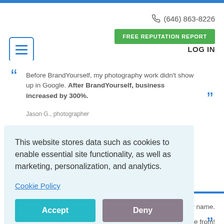(646) 863-8226 | FREE REPUTATION REPORT | LOG IN
[Figure (screenshot): Hamburger menu icon — three horizontal lines inside a blue-bordered rounded square]
"Before BrandYourself, my photography work didn't show up in Google. After BrandYourself, business increased by 300%."
Jason G., photographer
This website stores data such as cookies to enable essential site functionality, as well as marketing, personalization, and analytics.
Cookie Policy
Accept
Deny
my name.
e from!
Alfre G., Actor